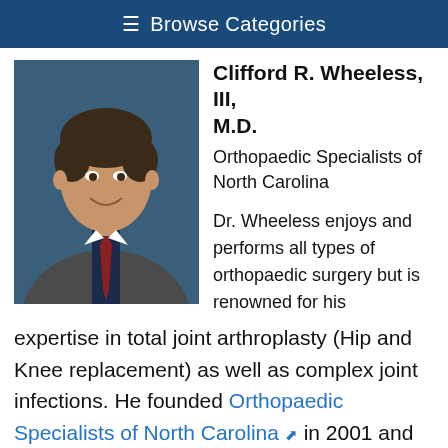☰ Browse Categories
[Figure (photo): Professional headshot of Dr. Clifford R. Wheeless III, a middle-aged man with short dark hair, wearing a grey suit and red tie, against a dark blue background.]
Clifford R. Wheeless, III, M.D.
Orthopaedic Specialists of North Carolina
Dr. Wheeless enjoys and performs all types of orthopaedic surgery but is renowned for his expertise in total joint arthroplasty (Hip and Knee replacement) as well as complex joint infections. He founded Orthopaedic Specialists of North Carolina in 2001 and practices at Franklin Regional Medical Center and Duke Raleigh Hospital.